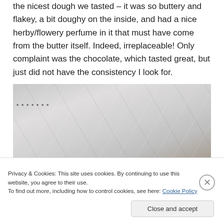the nicest dough we tasted – it was so buttery and flakey, a bit doughy on the inside, and had a nice herby/flowery perfume in it that must have come from the butter itself. Indeed, irreplaceable! Only complaint was the chocolate, which tasted great, but just did not have the consistency I look for.
[Figure (photo): Photo of a white/light-colored crinkled paper or plastic bag, partially obscuring what appears to be a baked good at the bottom]
Privacy & Cookies: This site uses cookies. By continuing to use this website, you agree to their use.
To find out more, including how to control cookies, see here: Cookie Policy